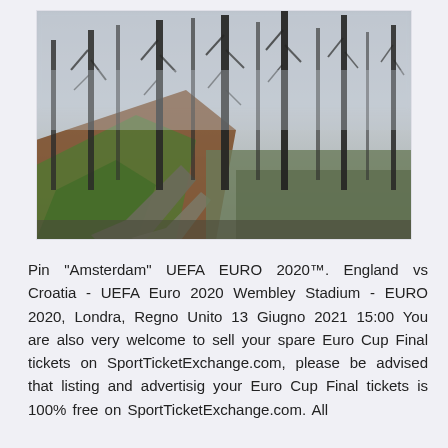[Figure (photo): A misty forest scene with tall bare trees on a hillside. A gravel path winds through the foggy woodland. Green mossy ground and reddish-brown soil visible on the slope.]
Pin "Amsterdam" UEFA EURO 2020™. England vs Croatia - UEFA Euro 2020 Wembley Stadium - EURO 2020, Londra, Regno Unito 13 Giugno 2021 15:00 You are also very welcome to sell your spare Euro Cup Final tickets on SportTicketExchange.com, please be advised that listing and advertisig your Euro Cup Final tickets is 100% free on SportTicketExchange.com. All